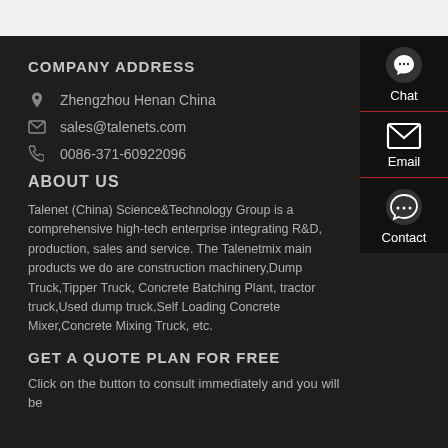COMPANY ADDRESS
Zhengzhou Henan China
sales@talenets.com
0086-371-60922096
ABOUT US
Talenet (China) Science&Technology Group is a comprehensive high-tech enterprise integrating R&D, production, sales and service. The Talenetmix main products we do are construction machinery,Dump Truck,Tipper Truck, Concrete Batching Plant, tractor truck,Used dump truck,Self Loading Concrete Mixer,Concrete Mixing Truck, etc.
GET A QUOTE PLAN FOR FREE
Click on the button to consult immediately and you will be